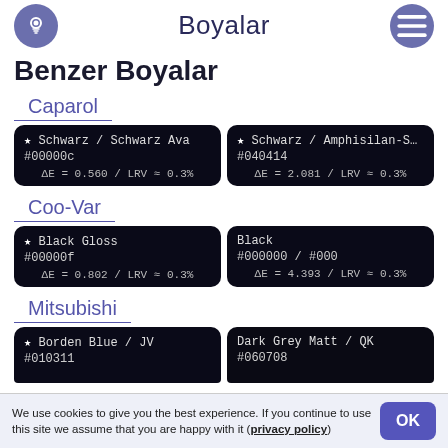Boyalar
Benzer Boyalar
Caparol
| ★ Schwarz / Schwarz Ava
#00000c
ΔE = 0.560 / LRV ≈ 0.3% | ★ Schwarz / Amphisilan-Schwarz
#040414
ΔE = 2.081 / LRV ≈ 0.3% |
Coo-Var
| ★ Black Gloss
#00000f
ΔE = 0.802 / LRV ≈ 0.3% | Black
#000000 / #000
ΔE = 4.393 / LRV ≈ 0.3% |
Mitsubishi
| ★ Borden Blue / JV
#010311 | Dark Grey Matt / QK
#060708 |
We use cookies to give you the best experience. If you continue to use this site we assume that you are happy with it (privacy policy)